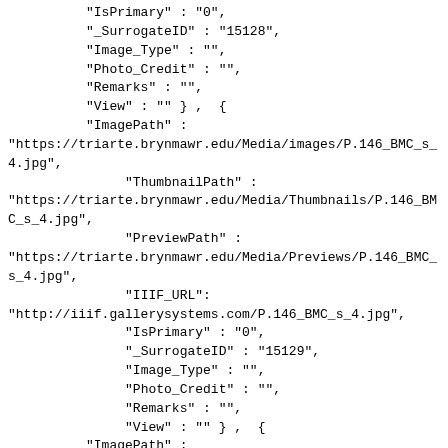"IsPrimary" : "0",
"_SurrogateID" : "15128",
"Image_Type" : "",
"Photo_Credit" : "",
"Remarks" : "",
"View" : "" } ,  {
"ImagePath" :
"https://triarte.brynmawr.edu/Media/images/P.146_BMC_s_4.jpg",
"ThumbnailPath" :
"https://triarte.brynmawr.edu/Media/Thumbnails/P.146_BMC_s_4.jpg",
"PreviewPath" :
"https://triarte.brynmawr.edu/Media/Previews/P.146_BMC_s_4.jpg",
"IIIF_URL":
"http://iiif.gallerysystems.com/P.146_BMC_s_4.jpg",
"IsPrimary" : "0",
"_SurrogateID" : "15129",
"Image_Type" : "",
"Photo_Credit" : "",
"Remarks" : "",
"View" : "" } ,  {
"ImagePath" :
"https://triarte.brynmawr.edu/Media/images/P.146_BMC_t.jpg",
"ThumbnailPath" :
"https://triarte.brynmawr.edu/Media/Thumbnails/P.146_BMC_t.jpg",
"PreviewPath" :